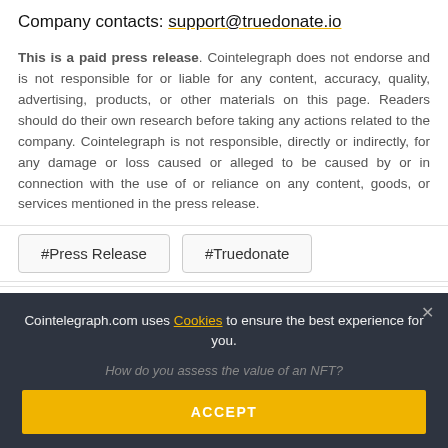Company contacts: support@truedonate.io
This is a paid press release. Cointelegraph does not endorse and is not responsible for or liable for any content, accuracy, quality, advertising, products, or other materials on this page. Readers should do their own research before taking any actions related to the company. Cointelegraph is not responsible, directly or indirectly, for any damage or loss caused or alleged to be caused by or in connection with the use of or reliance on any content, goods, or services mentioned in the press release.
#Press Release
#Truedonate
[Figure (other): Social media share icons: Facebook, Twitter, Telegram, Reddit, LinkedIn, WhatsApp, Copy, Scroll-to-top]
RELATED NEWS
Cointelegraph.com uses Cookies to ensure the best experience for you.
How do you assess the value of an NFT?
ACCEPT